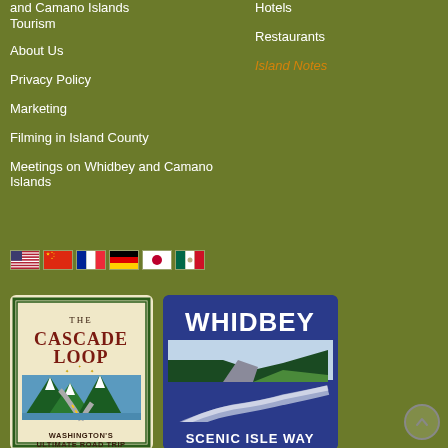and Camano Islands Tourism
Hotels
About Us
Restaurants
Island Notes
Privacy Policy
Marketing
Filming in Island County
Meetings on Whidbey and Camano Islands
[Figure (other): Row of six country flag icons: USA, China, France, Germany, Japan, Mexico]
[Figure (logo): The Cascade Loop - Washington's Ultimate Road Trip logo with mountain and road illustration]
[Figure (logo): Whidbey Scenic Isle Way logo with coastal landscape illustration]